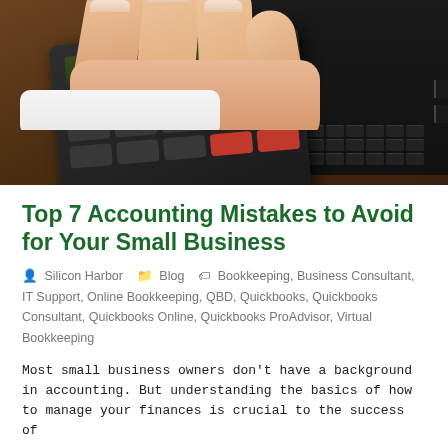[Figure (photo): Photo of hands using a calculator on a desk next to a laptop keyboard, viewed from above on a dark wooden surface.]
Top 7 Accounting Mistakes to Avoid for Your Small Business
Silicon Harbor   Blog   Bookkeeping, Business Consultant, IT Support, Online Bookkeeping, QBD, Quickbooks, Quickbooks Consultant, Quickbooks Online, Quickbooks ProAdvisor, Virtual Bookkeeping
Most small business owners don't have a background in accounting. But understanding the basics of how to manage your finances is crucial to the success of